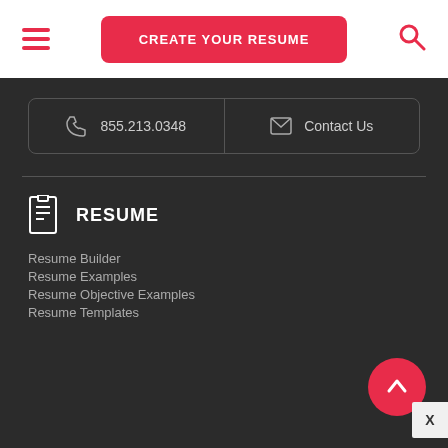[Figure (screenshot): Hamburger menu icon (three red horizontal lines) in top-left of header]
CREATE YOUR RESUME
[Figure (screenshot): Search icon (red magnifying glass) in top-right of header]
855.213.0348
Contact Us
RESUME
Resume Builder
Resume Examples
Resume Objective Examples
Resume Templates